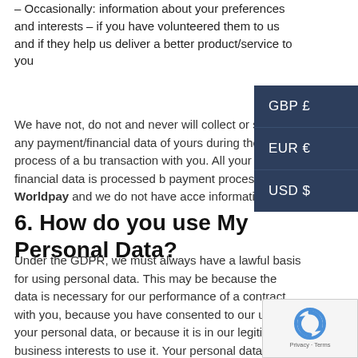– Occasionally: information about your preferences and interests – if you have volunteered them to us and if they help us deliver a better product/service to you
We have not, do not and never will collect or store any payment/financial data of yours during the process of a buy transaction with you. All your financial data is processed by payment processors – Worldpay and we do not have access to this information.
6. How do you use My Personal Data?
Under the GDPR, we must always have a lawful basis for using personal data. This may be because the data is necessary for our performance of a contract with you, because you have consented to our use of your personal data, or because it is in our legitimate business interests to use it. Your personal data will be used and may be used for one of the following purposes: